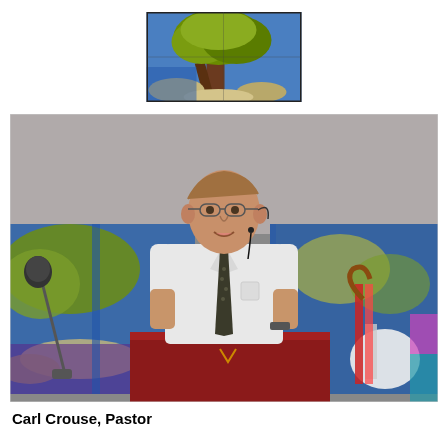[Figure (photo): Small thumbnail photo of stained glass window artwork depicting a tree with blue and green colors]
[Figure (photo): Photo of Carl Crouse, Pastor, standing at a red podium speaking, wearing a white short-sleeve shirt and patterned tie, with a headset microphone, in front of large screens displaying stained glass artwork]
Carl Crouse,  Pastor